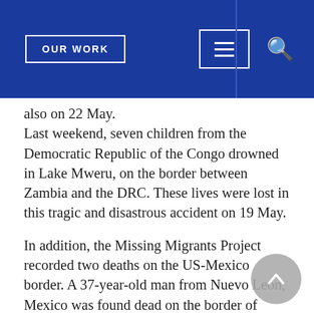OUR WORK
also on 22 May.
Last weekend, seven children from the Democratic Republic of the Congo drowned in Lake Mweru, on the border between Zambia and the DRC. These lives were lost in this tragic and disastrous accident on 19 May.
In addition, the Missing Migrants Project recorded two deaths on the US-Mexico border. A 37-year-old man from Nuevo León, Mexico was found dead on the border of Chihuahua and Texas last week. On 23 May, a woman was killed after crossing the Mexico-US border into Webb Country, Texas. Her identity remains unknown.
Missing Migrants Project data are compiled by IOM staff but come from a variety of sources, some of which are unofficial. To learn more about how data on